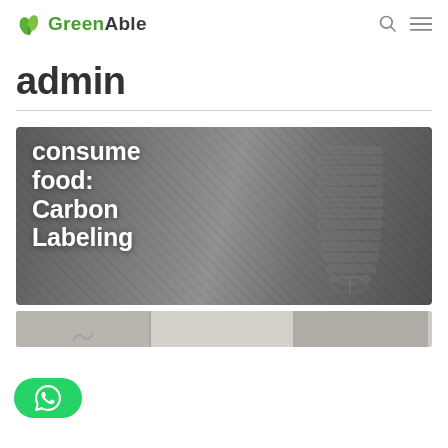Greenable
admin
[Figure (photo): Black and white photo of a shoe/boot footprint in soil or dirt, with overlaid white text reading 'consume food: Carbon Labeling']
[Figure (photo): Partial view of a second article thumbnail image at the bottom, light beige/tan colored]